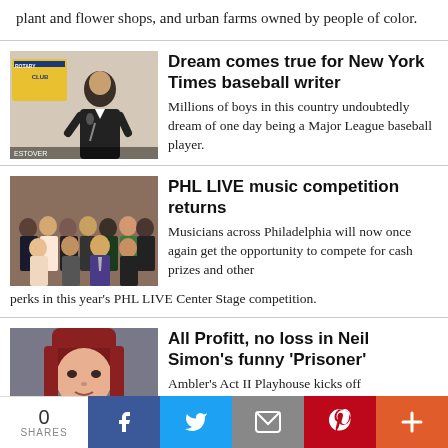plant and flower shops, and urban farms owned by people of color.
Dream comes true for New York Times baseball writer
Millions of boys in this country undoubtedly dream of one day being a Major League baseball player.
[Figure (photo): Man speaking at a podium with a Rotary Club banner in the background]
PHL LIVE music competition returns
Musicians across Philadelphia will now once again get the opportunity to compete for cash prizes and other perks in this year's PHL LIVE Center Stage competition.
[Figure (photo): Group of people posing for a photo in a formal setting]
All Profitt, no loss in Neil Simon's funny 'Prisoner'
Ambler's Act II Playhouse kicks off
[Figure (photo): Woman with red hair and bangs against a gray background]